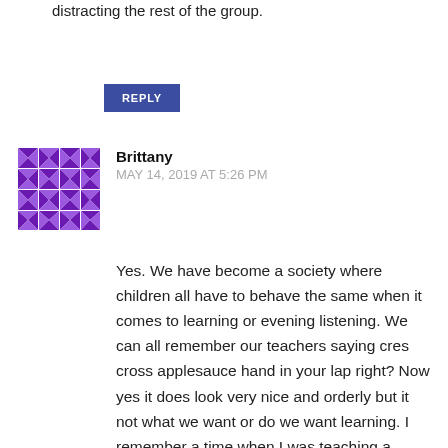distracting the rest of the group.
REPLY
Brittany
MAY 14, 2019 AT 5:26 PM
[Figure (illustration): Purple and white geometric avatar with a symmetrical pattern of triangles and diamond shapes.]
Yes. We have become a society where children all have to behave the same when it comes to learning or evening listening. We can all remember our teachers saying cres cross applesauce hand in your lap right? Now yes it does look very nice and orderly but it not what we want or do we want learning. I remember a time when I was teaching a lesson to children. One child decided to sit under the table and listen. Now the old way would be to make that child come with the group and do it the same as